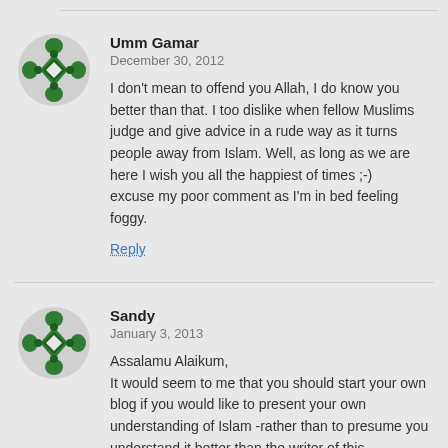[Figure (illustration): Green geometric avatar icon for Umm Gamar]
Umm Gamar
December 30, 2012
I don't mean to offend you Allah, I do know you better than that. I too dislike when fellow Muslims judge and give advice in a rude way as it turns people away from Islam. Well, as long as we are here I wish you all the happiest of times ;-)
excuse my poor comment as I'm in bed feeling foggy.
Reply
[Figure (illustration): Green geometric avatar icon for Sandy]
Sandy
January 3, 2013
Assalamu Alaikum,
It would seem to me that you should start your own blog if you would like to present your own understanding of Islam -rather than to presume you understand it better than the writer of this